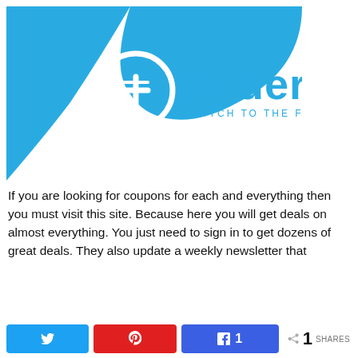[Figure (logo): Finder logo with blue background shapes, circular icon with stylized symbol, text 'finder' in blue, tagline 'SWITCH TO THE FUTURE']
If you are looking for coupons for each and everything then you must visit this site. Because here you will get deals on almost everything. You just need to sign in to get dozens of great deals. They also update a weekly newsletter that
[Figure (infographic): Social share bar with Twitter button, Pinterest button, Facebook share button showing count of 1, and total shares count of 1 SHARES]